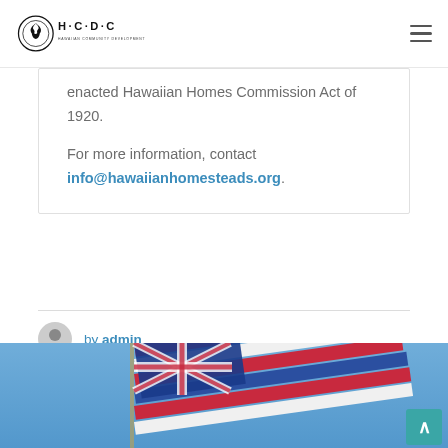HCDC - Hawaiian Community Development Corporation
enacted Hawaiian Homes Commission Act of 1920.
For more information, contact info@hawaiianhomesteads.org.
by admin
[Figure (photo): Hawaiian flag waving against a blue sky]